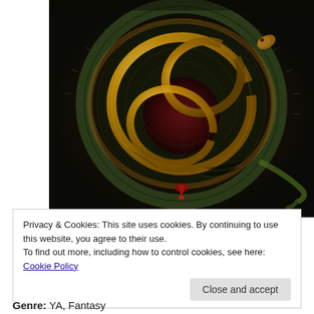[Figure (illustration): Dark fantasy book cover art featuring a circular arcane symbol or seal with glowing golden serpents/snakes coiled and intertwined around a dark red central circle, set against a dark stone-textured background with runic inscriptions.]
Privacy & Cookies: This site uses cookies. By continuing to use this website, you agree to their use.
To find out more, including how to control cookies, see here: Cookie Policy
Close and accept
Genre: YA, Fantasy